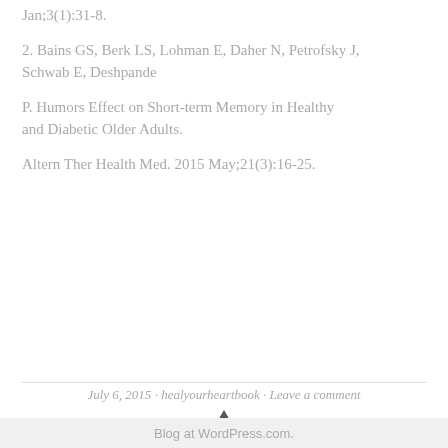Jan;3(1):31-8.
2. Bains GS, Berk LS, Lohman E, Daher N, Petrofsky J, Schwab E, Deshpande
P. Humors Effect on Short-term Memory in Healthy and Diabetic Older Adults.
Altern Ther Health Med. 2015 May;21(3):16-25.
July 6, 2015 · healyourheartbook · Leave a comment
Blog at WordPress.com.